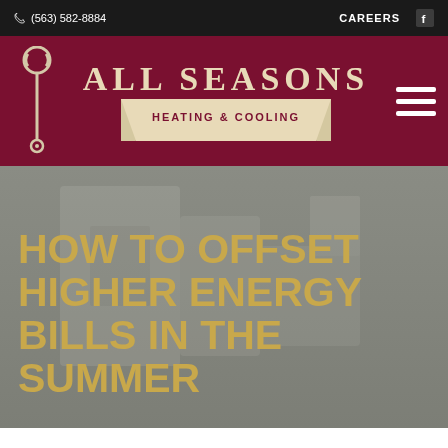✆ (563) 582-8884   CAREERS  f
[Figure (logo): All Seasons Heating & Cooling logo with wrench icon on dark maroon background]
HOW TO OFFSET HIGHER ENERGY BILLS IN THE SUMMER